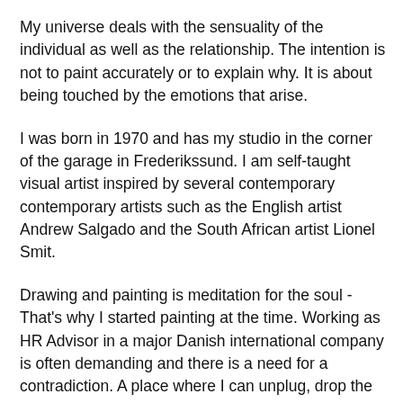My universe deals with the sensuality of the individual as well as the relationship. The intention is not to paint accurately or to explain why. It is about being touched by the emotions that arise.
I was born in 1970 and has my studio in the corner of the garage in Frederikssund. I am self-taught visual artist inspired by several contemporary contemporary artists such as the English artist Andrew Salgado and the South African artist Lionel Smit.
Drawing and painting is meditation for the soul - That's why I started painting at the time. Working as HR Advisor in a major Danish international company is often demanding and there is a need for a contradiction. A place where I can unplug, drop the thriller and get recharged. The meditative state I come in when